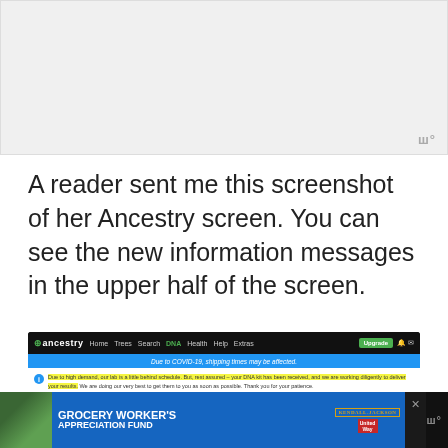[Figure (other): Blank gray placeholder image area at top of page]
A reader sent me this screenshot of her Ancestry screen. You can see the new information messages in the upper half of the screen.
[Figure (screenshot): Screenshot of Ancestry.com website showing a navigation bar with DNA highlighted, a blue COVID-19 shipping delay banner, and a yellow-highlighted info message about high demand and DNA kit processing delays. A red arrow points to the info message area. Below is an advertisement for Grocery Worker's Appreciation Fund sponsored by Kendall Jackson and United Way.]